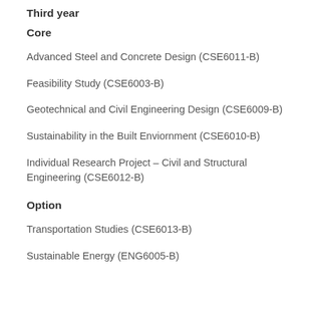Third year
Core
Advanced Steel and Concrete Design (CSE6011-B)
Feasibility Study (CSE6003-B)
Geotechnical and Civil Engineering Design (CSE6009-B)
Sustainability in the Built Enviornment (CSE6010-B)
Individual Research Project – Civil and Structural Engineering (CSE6012-B)
Option
Transportation Studies (CSE6013-B)
Sustainable Energy (ENG6005-B)